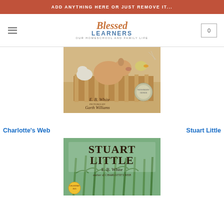ADD ANYTHING HERE OR JUST REMOVE IT...
[Figure (logo): Blessed Learners logo with text 'OUR HOMESCHOOL AND FAMILY LIFE']
[Figure (photo): Charlotte's Web book cover by E. B. White, pictures by Garth Williams, with Newbery Honor medal]
Charlotte's Web
Stuart Little
[Figure (photo): Stuart Little book cover by E. B. White, author of Charlotte's Web, Celebrating edition]